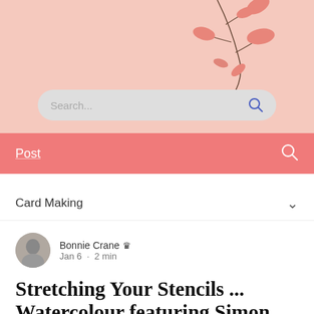[Figure (illustration): Pink background header with botanical branch illustration (pink leaves on dark stems) in the top-right corner, with a search bar overlaid at the bottom of the section.]
Search...
Post
Card Making
Bonnie Crane 👑 Jan 6 · 2 min
Stretching Your Stencils ... Watercolour featuring Simon Says Stamp's STYLIZED BUTTERFLY